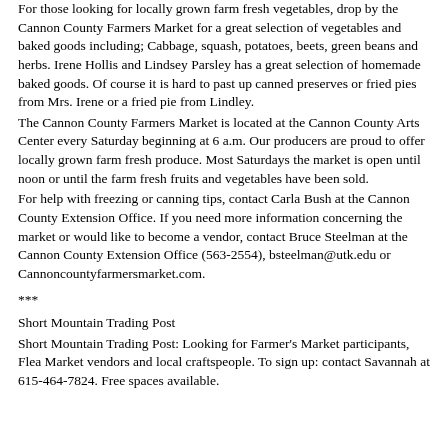For those looking for locally grown farm fresh vegetables, drop by the Cannon County Farmers Market for a great selection of vegetables and baked goods including; Cabbage, squash, potatoes, beets, green beans and herbs. Irene Hollis and Lindsey Parsley has a great selection of homemade baked goods. Of course it is hard to past up canned preserves or fried pies from Mrs. Irene or a fried pie from Lindley.
The Cannon County Farmers Market is located at the Cannon County Arts Center every Saturday beginning at 6 a.m. Our producers are proud to offer locally grown farm fresh produce. Most Saturdays the market is open until noon or until the farm fresh fruits and vegetables have been sold.
For help with freezing or canning tips, contact Carla Bush at the Cannon County Extension Office. If you need more information concerning the market or would like to become a vendor, contact Bruce Steelman at the Cannon County Extension Office (563-2554), bsteelman@utk.edu or Cannoncountyfarmersmarket.com.
***
Short Mountain Trading Post
Short Mountain Trading Post: Looking for Farmer's Market participants, Flea Market vendors and local craftspeople. To sign up: contact Savannah at 615-464-7824. Free spaces available.